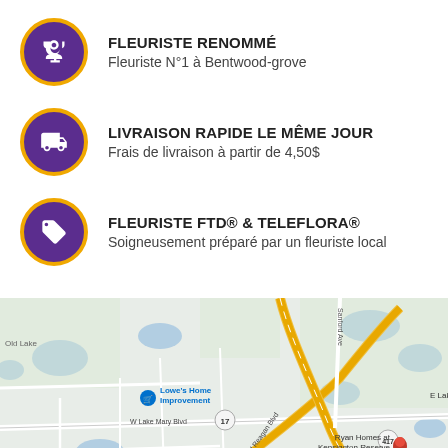FLEURISTE RENOMMÉ — Fleuriste N°1 à Bentwood-grove
LIVRAISON RAPIDE LE MÊME JOUR — Frais de livraison à partir de 4,50$
FLEURISTE FTD® & TELEFLORA® — Soigneusement préparé par un fleuriste local
[Figure (map): Google Maps view showing Bentwood-grove area with roads including W Lake Mary Blvd, N Ronald Reagan Blvd, Sanford Ave, and highway 417. Shows nearby landmarks: Lowe's Home Improvement, Ryan Homes at Kensington Reserve.]